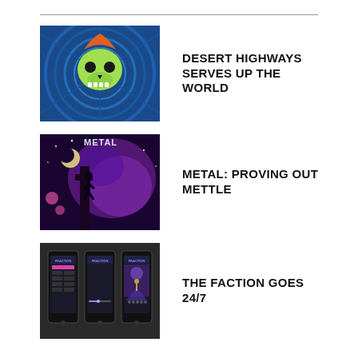[Figure (illustration): Album/magazine cover art featuring a green skull on a psychedelic blue swirling background]
DESERT HIGHWAYS SERVES UP THE WORLD
[Figure (illustration): Dark fantasy scene with a figure silhouetted against purple cosmic clouds and the word METAL at top]
METAL: PROVING OUT METTLE
[Figure (screenshot): Three smartphone screens showing the Faction radio app interface]
THE FACTION GOES 24/7